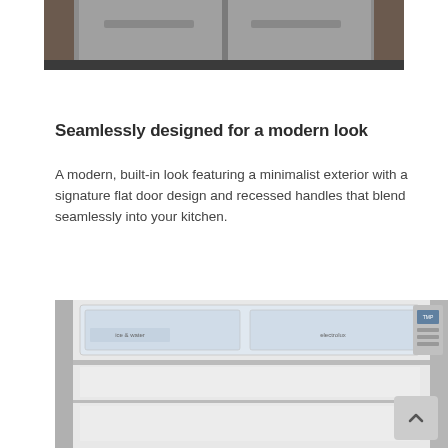[Figure (photo): Top portion of a modern refrigerator or kitchen appliance in stainless steel and dark finish, partially cropped at top of page]
Seamlessly designed for a modern look
A modern, built-in look featuring a minimalist exterior with a signature flat door design and recessed handles that blend seamlessly into your kitchen.
[Figure (photo): Interior view of an open Electrolux refrigerator showing clear drawers, shelves, and a control panel on the right side]